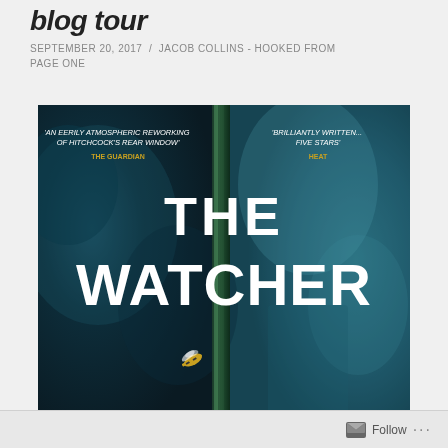blog tour
SEPTEMBER 20, 2017 / JACOB COLLINS - HOOKED FROM PAGE ONE
[Figure (photo): Book cover of 'The Watcher' showing a blue-toned atmospheric image of a window with a wasp/bee. Blurbs read: 'An eerily atmospheric reworking of Hitchcock's Rear Window' - THE GUARDIAN, and 'Brilliantly written... Five Stars' - HEAT. The title THE WATCHER is displayed in large white bold letters.]
Follow